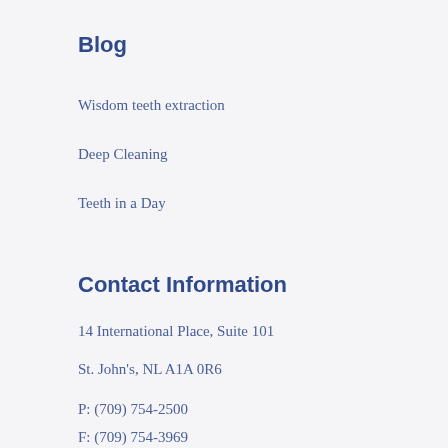Blog
Wisdom teeth extraction
Deep Cleaning
Teeth in a Day
Contact Information
14 International Place, Suite 101
St. John's, NL A1A 0R6
P: (709) 754-2500
F: (709) 754-3969
E: info@nlperioandimplants.ca